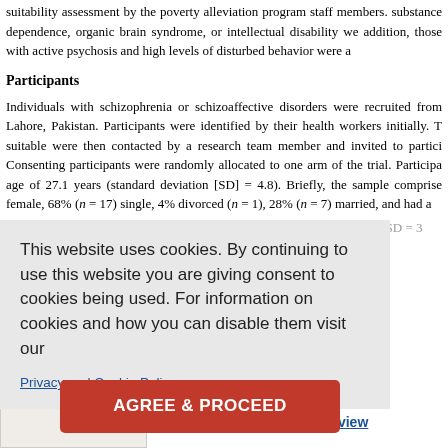suitability assessment by the poverty alleviation program staff members. substance dependence, organic brain syndrome, or intellectual disability we addition, those with active psychosis and high levels of disturbed behavior were a
Participants
Individuals with schizophrenia or schizoaffective disorders were recruited from Lahore, Pakistan. Participants were identified by their health workers initially. T suitable were then contacted by a research team member and invited to partici Consenting participants were randomly allocated to one arm of the trial. Participa age of 27.1 years (standard deviation [SD] = 4.8). Briefly, the sample comprise female, 68% (n = 17) single, 4% divorced (n = 1), 28% (n = 7) married, and had a = years of education. Mean monthly family income was 12.5 (SD = ) of the key S was on a Mean durati
This website uses cookies. By continuing to use this website you are giving consent to cookies being used. For information on cookies and how you can disable them visit our
Privacy and Cookie Policy.
AGREE & PROCEED
Click here to view